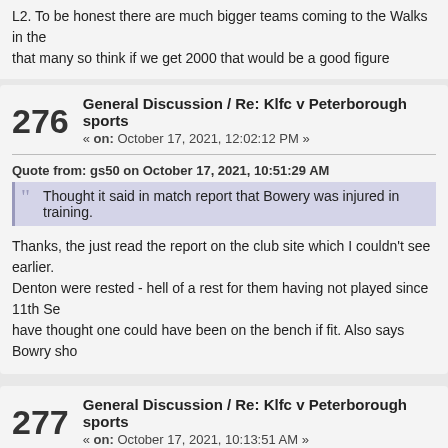L2. To be honest there are much bigger teams coming to the Walks in the that many so think if we get 2000 that would be a good figure
276 General Discussion / Re: Klfc v Peterborough sports
« on: October 17, 2021, 12:02:12 PM »
Quote from: gs50 on October 17, 2021, 10:51:29 AM
Thought it said in match report that Bowery was injured in training.
Thanks, the just read the report on the club site which I couldn't see earlier. Denton were rested - hell of a rest for them having not played since 11th Se have thought one could have been on the bench if fit. Also says Bowry sho
277 General Discussion / Re: Klfc v Peterborough sports
« on: October 17, 2021, 10:13:51 AM »
A good cup tie which Peterborough Sports more than played their part in a the sides, probably won't be next season.
Squad looked very stretched, was Bowry injured or had Cheltenham not s